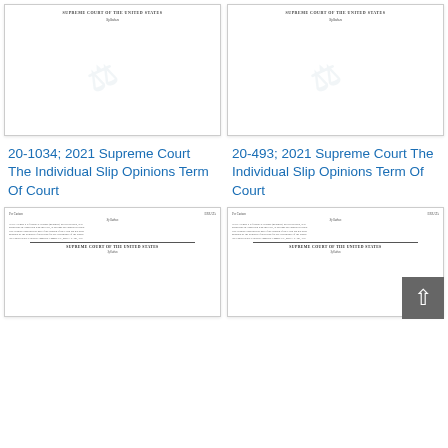[Figure (screenshot): Thumbnail of Supreme Court document: 20-1034; 2021 Supreme Court The Individual Slip Opinions Term Of Court, showing header 'SUPREME COURT OF THE UNITED STATES' and 'Syllabus']
[Figure (screenshot): Thumbnail of Supreme Court document: 20-493; 2021 Supreme Court The Individual Slip Opinions Term Of Court, showing header 'SUPREME COURT OF THE UNITED STATES' and 'Syllabus']
20-1034; 2021 Supreme Court The Individual Slip Opinions Term Of Court
20-493; 2021 Supreme Court The Individual Slip Opinions Term Of Court
[Figure (screenshot): Thumbnail of another Supreme Court document page showing Per Curiam, ERRATA, Syllabus header and 'SUPREME COURT OF THE UNITED STATES']
[Figure (screenshot): Thumbnail of another Supreme Court document page showing Per Curiam, ERRATA, Syllabus header and 'SUPREME COURT OF THE UNITED STATES']